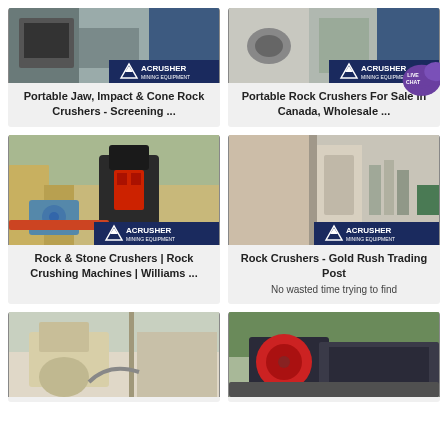[Figure (photo): Mining crusher equipment with ACRUSHER MINING EQUIPMENT watermark - top left card]
Portable Jaw, Impact & Cone Rock Crushers - Screening ...
[Figure (photo): Mining crusher equipment with ACRUSHER MINING EQUIPMENT watermark - top right card, with LIVE CHAT bubble overlay]
Portable Rock Crushers For Sale In Canada, Wholesale ...
[Figure (photo): Rock crusher machinery outdoors with ACRUSHER MINING EQUIPMENT watermark - middle left]
Rock & Stone Crushers | Rock Crushing Machines | Williams ...
[Figure (photo): Industrial crusher equipment indoors with ACRUSHER MINING EQUIPMENT watermark - middle right]
Rock Crushers - Gold Rush Trading Post
No wasted time trying to find
[Figure (photo): Crusher machinery - bottom left card, partially visible]
[Figure (photo): Crusher machinery outdoors - bottom right card, partially visible]